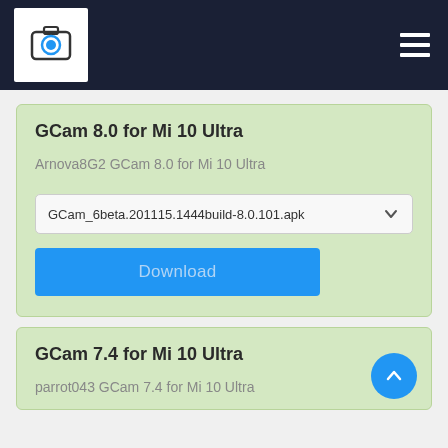GCam App — Navigation bar with logo and menu
GCam 8.0 for Mi 10 Ultra
Arnova8G2 GCam 8.0 for Mi 10 Ultra
GCam_6beta.201115.1444build-8.0.101.apk
Download
GCam 7.4 for Mi 10 Ultra
parrot043 GCam 7.4 for Mi 10 Ultra